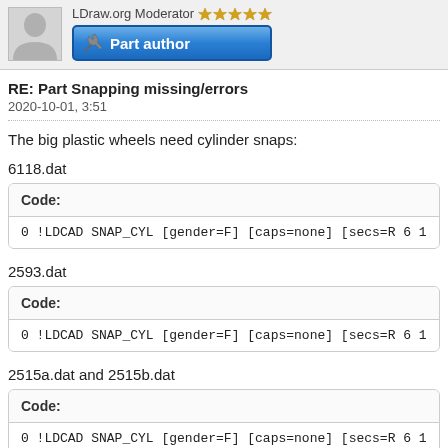[Figure (screenshot): Forum user avatar placeholder (grey silhouette) and Part author badge button with wrench icon]
RE: Part Snapping missing/errors
2020-10-01, 3:51
The big plastic wheels need cylinder snaps:
6118.dat
Code:
0 !LDCAD SNAP_CYL [gender=F] [caps=none] [secs=R 6 1
2593.dat
Code:
0 !LDCAD SNAP_CYL [gender=F] [caps=none] [secs=R 6 1
2515a.dat and 2515b.dat
Code:
0 !LDCAD SNAP_CYL [gender=F] [caps=none] [secs=R 6 1